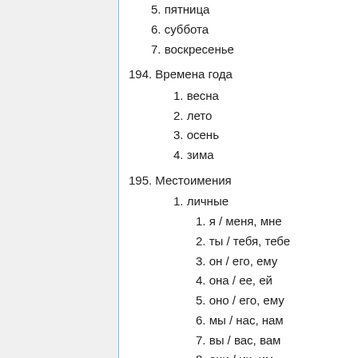5. пятница
6. суббота
7. воскресенье
194. Времена года
1. весна
2. лето
3. осень
4. зима
195. Местоимения
1. личные
1. я / меня, мне
2. ты / тебя, тебе
3. он / его, ему
4. она / ее, ей
5. оно / его, ему
6. мы / нас, нам
7. вы / вас, вам
8. они / их, им
2. притяжательные